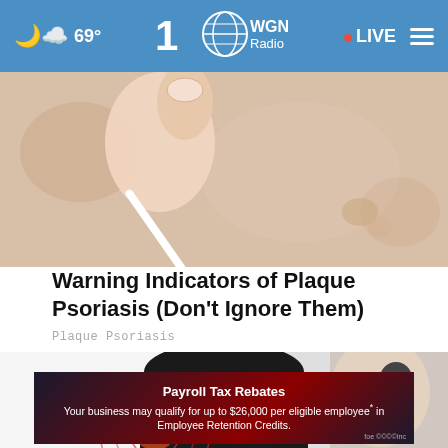69° WGN Radio LIVE
[Figure (photo): Close-up of a hand touching or examining pale skin with a white object (possibly a cotton swab or tool), showing skin texture detail related to plaque psoriasis.]
Warning Indicators of Plaque Psoriasis (Don't Ignore Them)
Plaque Psoriasis
[Figure (photo): Person wearing dark clothing holding their lower back/hip area, with red circular pain indicator overlay, suggesting pain or inflammation in the area.]
Payroll Tax Rebates
Your business may qualify for up to $26,000 per eligible employee* in Employee Retention Credits.